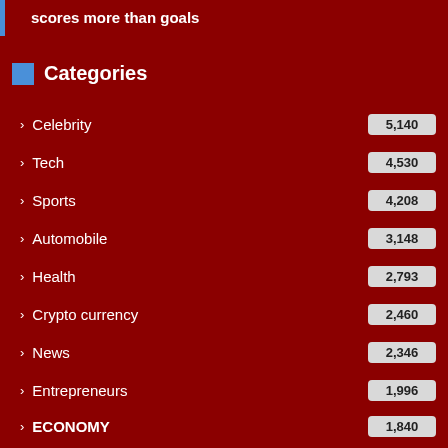scores more than goals
Categories
Celebrity
Tech
Sports
Automobile
Health
Crypto currency
News
Entrepreneurs
ECONOMY
Finance
Market